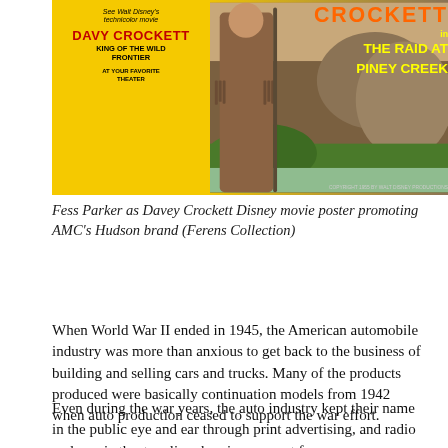[Figure (illustration): Movie poster for Davy Crockett - Fess Parker as Davey Crockett. Left side has yellow background with text: 'See Walt Disney's technicolor movie DAVY CROCKETT KING OF THE WILD FRONTIER AT YOUR FAVORITE THEATER'. Right side shows Fess Parker in frontier costume with text 'CROCKETT in THE RAID AT PINEY CREEK' in orange and yellow letters on a scenic background.]
Fess Parker as Davey Crockett Disney movie poster promoting AMC's Hudson brand (Ferens Collection)
When World War II ended in 1945, the American automobile industry was more than anxious to get back to the business of building and selling cars and trucks. Many of the products produced were basically continuation models from 1942 when auto production ceased to support the war effort.
Even during the war years, the auto industry kept their name in the public eye and ear through print advertising, and radio and movie theater clips showing support for